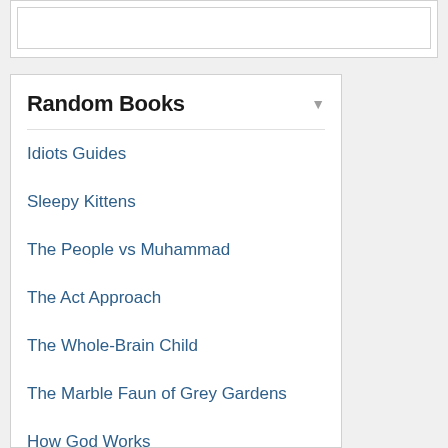Random Books
Idiots Guides
Sleepy Kittens
The People vs Muhammad
The Act Approach
The Whole-Brain Child
The Marble Faun of Grey Gardens
How God Works
Mercy's Rescue
Love in the Time of Cholera
American Psycho